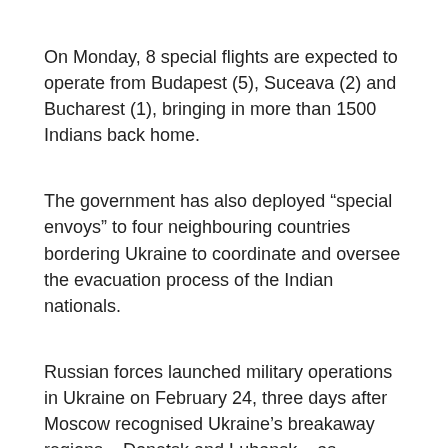On Monday, 8 special flights are expected to operate from Budapest (5), Suceava (2) and Bucharest (1), bringing in more than 1500 Indians back home.
The government has also deployed “special envoys” to four neighbouring countries bordering Ukraine to coordinate and oversee the evacuation process of the Indian nationals.
Russian forces launched military operations in Ukraine on February 24, three days after Moscow recognised Ukraine’s breakaway regions – Donetsk and Luhansk – as independent entities.